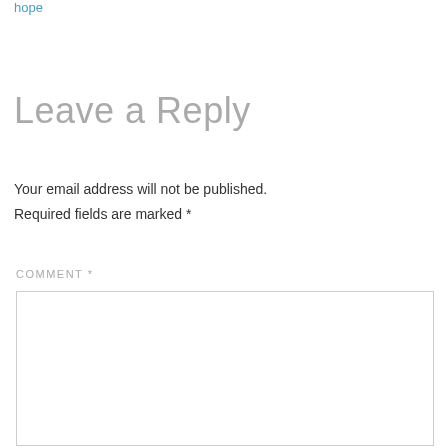hope
Leave a Reply
Your email address will not be published.
Required fields are marked *
COMMENT *
[Figure (other): Comment text area input box]